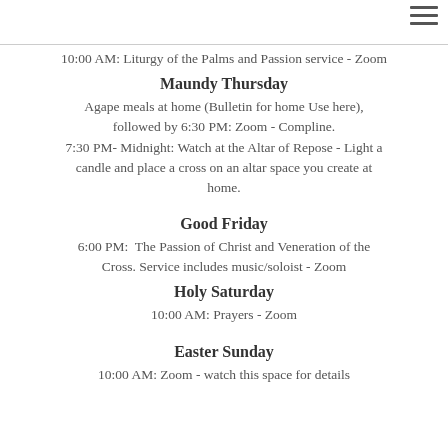10:00 AM: Liturgy of the Palms and Passion service - Zoom
Maundy Thursday
Agape meals at home (Bulletin for home Use here), followed by 6:30 PM: Zoom - Compline.
7:30 PM- Midnight: Watch at the Altar of Repose - Light a candle and place a cross on an altar space you create at home.
Good Friday
6:00 PM:  The Passion of Christ and Veneration of the Cross. Service includes music/soloist - Zoom
Holy Saturday
10:00 AM: Prayers - Zoom
Easter Sunday
10:00 AM: Zoom - watch this space for details